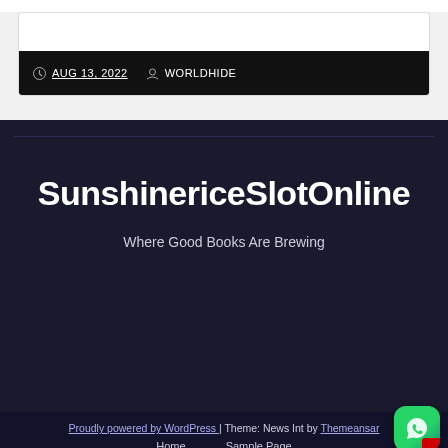AUG 13, 2022  WORLDHIDE
SunshinericeSlotOnline
Where Good Books Are Brewing
Proudly powered by WordPress | Theme: News Int by Themeansar  Home  Sample Page